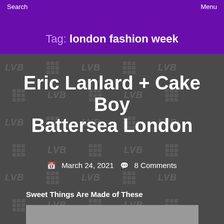Search   Menu
Tag: london fashion week
Eric Lanlard + Cake Boy Battersea London
March 24, 2021   8 Comments
Sweet Things Are Made of These
[Figure (photo): Gray placeholder image at bottom of page]